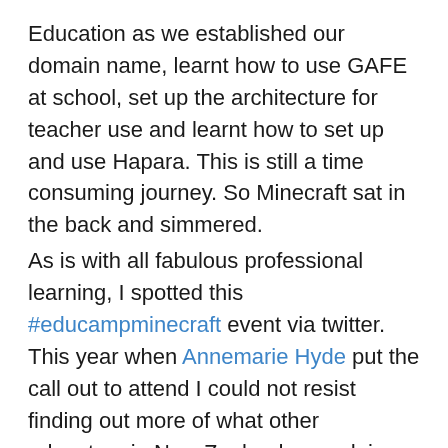Education as we established our domain name, learnt how to use GAFE at school, set up the architecture for teacher use and learnt how to set up and use Hapara. This is still a time consuming journey. So Minecraft sat in the back and simmered.
As is with all fabulous professional learning, I spotted this #educampminecraft event via twitter. This year when Annemarie Hyde put the call out to attend I could not resist finding out more of what other educators in New Zealand were doing with Minecraft.
So on Friday night, straight after school I drove down to Rotorua and joined several other educators for #educampminecraft at Mokoia Intermediate School. You can find out more about the event here on the educamp wiki.
http://educampnz.wikispaces.com/Educamp+Minecraft